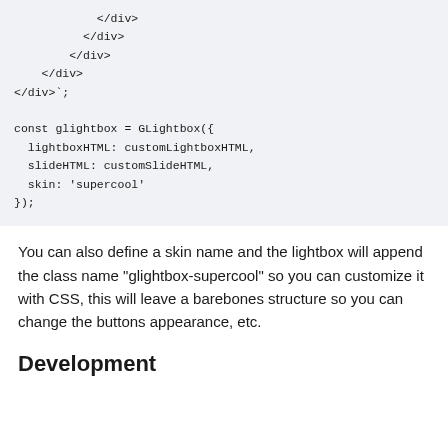[Figure (screenshot): Code block showing closing div tags and a JavaScript const glightbox = GLightbox({ lightboxHTML: customLightboxHTML, slideHTML: customSlideHTML, skin: 'supercool' }); snippet]
You can also define a skin name and the lightbox will append the class name "glightbox-supercool" so you can customize it with CSS, this will leave a barebones structure so you can change the buttons appearance, etc.
Development